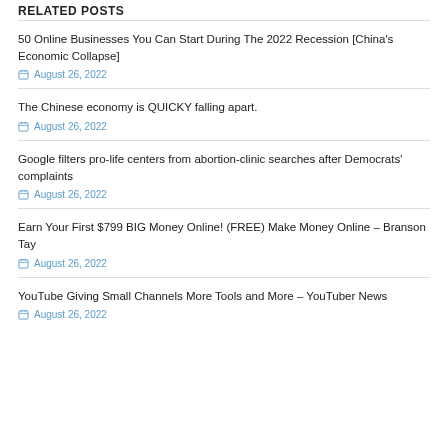RELATED POSTS
50 Online Businesses You Can Start During The 2022 Recession [China's Economic Collapse]
August 26, 2022
The Chinese economy is QUICKY falling apart.
August 26, 2022
Google filters pro-life centers from abortion-clinic searches after Democrats' complaints
August 26, 2022
Earn Your First $799 BIG Money Online! (FREE) Make Money Online – Branson Tay
August 26, 2022
YouTube Giving Small Channels More Tools and More – YouTuber News
August 26, 2022